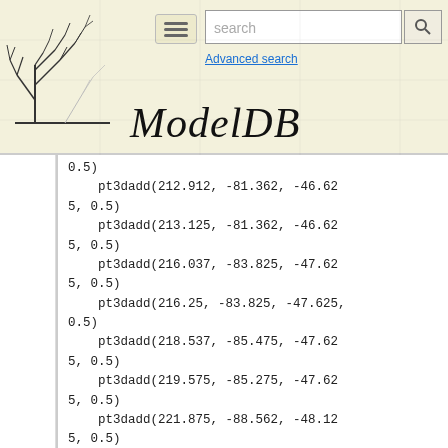ModelDB — Advanced search
0.5)
    pt3dadd(212.912, -81.362, -46.625, 0.5)
    pt3dadd(213.125, -81.362, -46.625, 0.5)
    pt3dadd(216.037, -83.825, -47.625, 0.5)
    pt3dadd(216.25, -83.825, -47.625, 0.5)
    pt3dadd(218.537, -85.475, -47.625, 0.5)
    pt3dadd(219.575, -85.275, -47.625, 0.5)
    pt3dadd(221.875, -88.562, -48.125, 0.5)
    pt3dadd(221.875, -88.762, -48.125, 0.5)
    pt3dadd(227.5, -91.024, -48.125, 0.5)
    pt3dadd(227.5, -90.812, -48.25,